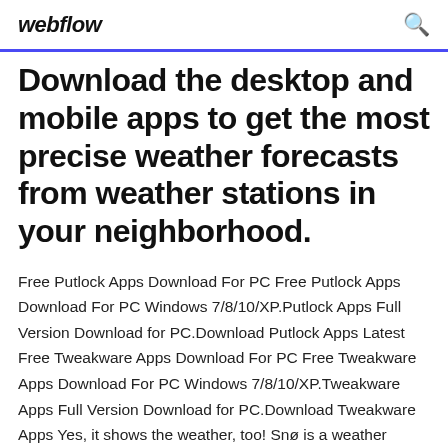webflow
Download the desktop and mobile apps to get the most precise weather forecasts from weather stations in your neighborhood.
Free Putlock Apps Download For PC Free Putlock Apps Download For PC Windows 7/8/10/XP.Putlock Apps Full Version Download for PC.Download Putlock Apps Latest Free Tweakware Apps Download For PC Free Tweakware Apps Download For PC Windows 7/8/10/XP.Tweakware Apps Full Version Download for PC.Download Tweakware Apps Yes, it shows the weather, too! Snø is a weather